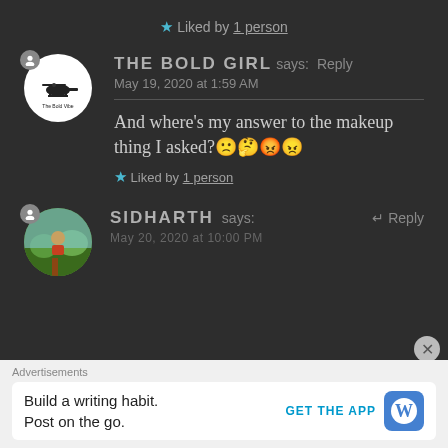★ Liked by 1 person
THE BOLD GIRL says: Reply
May 19, 2020 at 1:59 AM
And where's my answer to the makeup thing I asked?🙁🤔😡😠
★ Liked by 1 person
SIDHARTH says: ↵ Reply